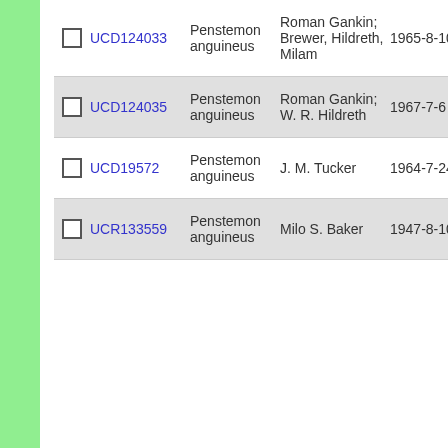|  | ID | Species | Collector | Date | Num |
| --- | --- | --- | --- | --- | --- |
| ☐ | UCD124033 | Penstemon anguineus | Roman Gankin; Brewer, Hildreth, Milam | 1965-8-10 | 60 |
| ☐ | UCD124035 | Penstemon anguineus | Roman Gankin; W. R. Hildreth | 1967-7-6 | 99 |
| ☐ | UCD19572 | Penstemon anguineus | J. M. Tucker | 1964-7-24 | 38 |
| ☐ | UCR133559 | Penstemon anguineus | Milo S. Baker | 1947-8-10 | 11 |